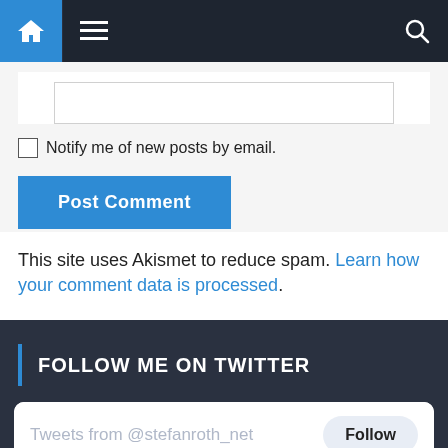Navigation bar with home, menu, and search icons
Notify me of new posts by email.
Post Comment
This site uses Akismet to reduce spam. Learn how your comment data is processed.
FOLLOW ME ON TWITTER
Tweets from @stefanroth_net  Follow
@stefanrot  Aug 18